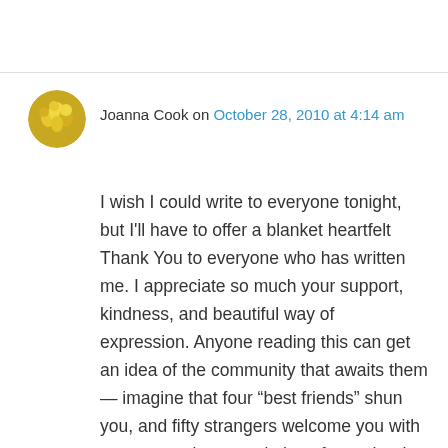Joanna Cook on October 28, 2010 at 4:14 am
I wish I could write to everyone tonight, but I'll have to offer a blanket heartfelt Thank You to everyone who has written me. I appreciate so much your support, kindness, and beautiful way of expression. Anyone reading this can get an idea of the community that awaits them — imagine that four “best friends” shun you, and fifty strangers welcome you with open arms, in appreciation of exactly who you are. I hope others can feel the way I feel sharing my experiences and receiving this kind of reception. >Hug< to each one. (And I am a professional writer, I must admit, and a professional editor